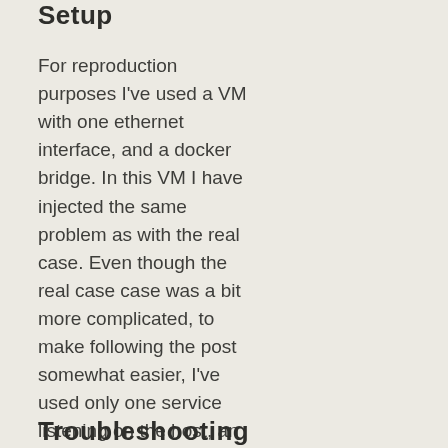Setup
For reproduction purposes I've used a VM with one ethernet interface, and a docker bridge. In this VM I have injected the same problem as with the real case. Even though the real case case was a bit more complicated, to make following the post somewhat easier, I've used only one service listening on the host, an Elasticsearch process, and only one Kibana docker container that needs to communicate with Elasticsearch on the host.
Troubleshooting